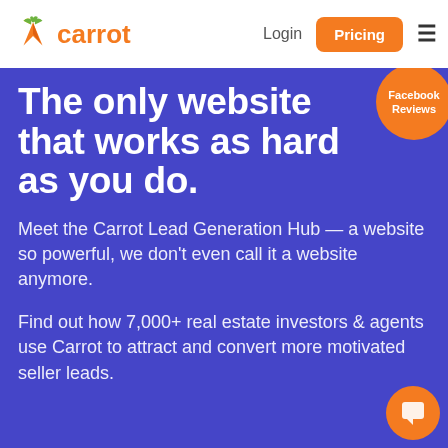[Figure (logo): Carrot logo with orange carrot icon and orange text 'carrot']
Login | Pricing | Menu
[Figure (other): Orange circular badge with text 'Facebook Reviews' in top right corner of hero section]
The only website that works as hard as you do.
Meet the Carrot Lead Generation Hub — a website so powerful, we don't even call it a website anymore.
Find out how 7,000+ real estate investors & agents use Carrot to attract and convert more motivated seller leads.